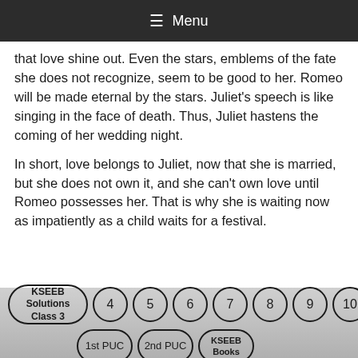≡ Menu
that love shine out. Even the stars, emblems of the fate she does not recognize, seem to be good to her. Romeo will be made eternal by the stars. Juliet's speech is like singing in the face of death. Thus, Juliet hastens the coming of her wedding night.
In short, love belongs to Juliet, now that she is married, but she does not own it, and she can't own love until Romeo possesses her. That is why she is waiting now as impatiently as a child waits for a festival.
KSEEB Solutions Class 3 | 4 | 5 | 6 | 7 | 8 | 9 | 10 | 1st PUC | 2nd PUC | KSEEB Books